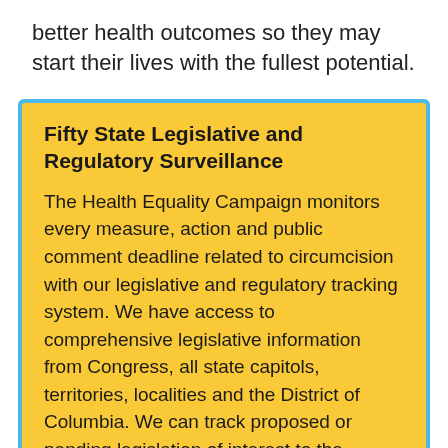better health outcomes so they may start their lives with the fullest potential.
Fifty State Legislative and Regulatory Surveillance
The Health Equality Campaign monitors every measure, action and public comment deadline related to circumcision with our legislative and regulatory tracking system. We have access to comprehensive legislative information from Congress, all state capitols, territories, localities and the District of Columbia. We can track proposed or pending legislation of interest to the Campaign.
With this legislative and regulatory